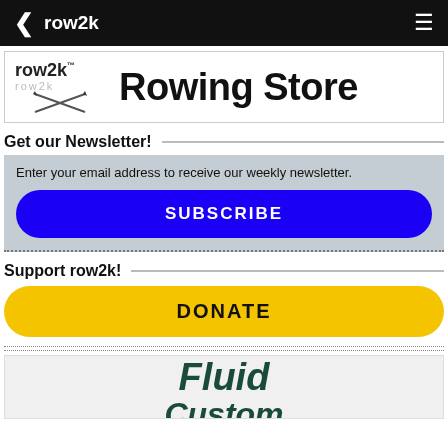row2k
[Figure (logo): row2k Rowing Store banner with logo and crossed oars]
Get our Newsletter!
Enter your email address to receive our weekly newsletter.
SUBSCRIBE
Support row2k!
DONATE
[Figure (illustration): Fluid Custom logo/ad banner partially visible at bottom]